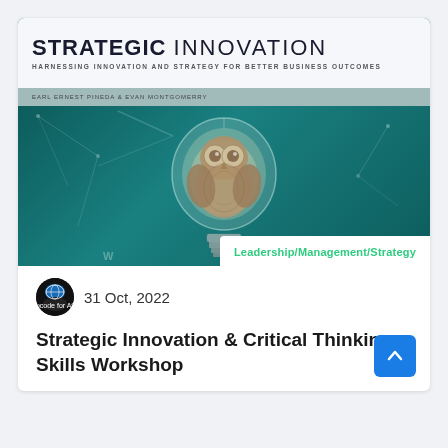[Figure (illustration): Book cover for 'Strategic Innovation' showing an owl inside a light bulb on a teal background, with subtitle 'Harnessing Innovation and Strategy for Better Business Outcomes' and authors listed. Category badge reads 'Leadership/Management/Strategy'.]
31 Oct, 2022
Strategic Innovation & Critical Thinking Skills Workshop